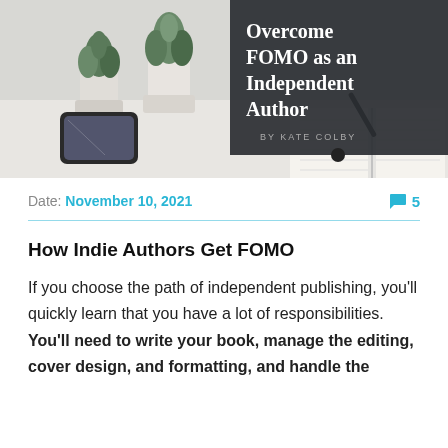[Figure (photo): Blog post hero image showing two white potted succulents, an open notebook, and a smartphone on a white surface. Overlaid dark charcoal box with white bold text reading 'Overcome FOMO as an Independent Author' and smaller text 'BY KATE COLBY'.]
Date: November 10, 2021   💬 5
How Indie Authors Get FOMO
If you choose the path of independent publishing, you'll quickly learn that you have a lot of responsibilities. You'll need to write your book, manage the editing, cover design, and formatting, and handle the